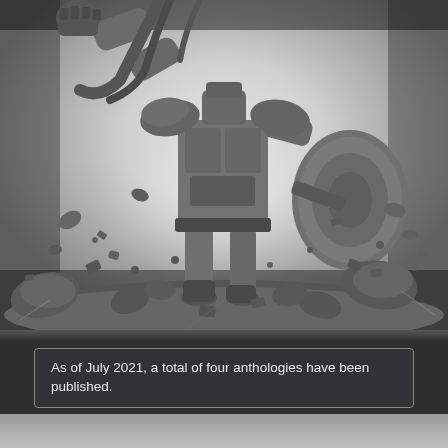[Figure (illustration): Grayscale comic-book style illustration of an armored figure standing amid rubble and debris. The character is viewed from below, wearing body armor and holding a round shield in the right hand. Rocks and debris are scattered around the figure's feet. The background is bright/white with scattered rock fragments.]
As of July 2021, a total of four anthologies have been published.